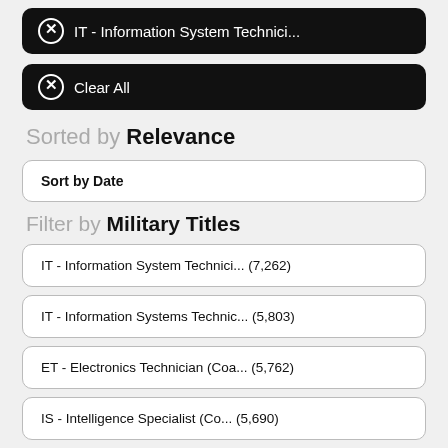✕ IT - Information System Technici...
✕ Clear All
Sorted by Relevance
Sort by Date
Filter by Military Titles
IT - Information System Technici... (7,262)
IT - Information Systems Technic... (5,803)
ET - Electronics Technician (Coa... (5,762)
IS - Intelligence Specialist (Co... (5,690)
3D034 - Computer Systems Program... (5,463)